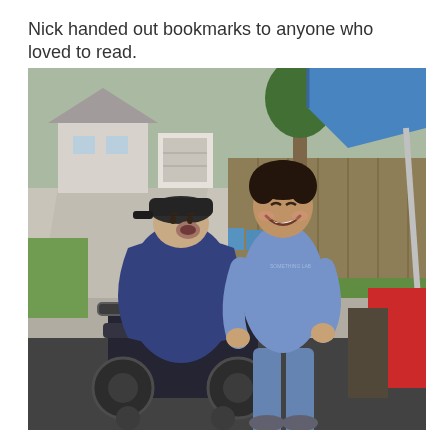Nick handed out bookmarks to anyone who loved to read.
[Figure (photo): Outdoor photo of two people: one person seated in a motorized wheelchair wearing a dark jacket, grey shirt, and black cap with mouth open in a joyful expression; another taller person standing beside them smiling broadly, wearing a blue t-shirt and jeans. They are on a dark paved surface with a driveway, houses, fence, green lawn, and a blue canopy tent visible in the background. A red-clothed table is partially visible on the right.]